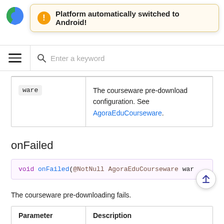[Figure (screenshot): Blue circular logo partially visible at top left]
Platform automatically switched to Android!
[Figure (screenshot): Search bar with hamburger menu icon and magnifying glass, placeholder text: Enter a keyword]
| ware | The courseware pre-download configuration. See AgoraEduCourseware. |
onFailed
void onFailed(@NotNull AgoraEduCourseware war
The courseware pre-downloading fails.
| Parameter | Description |
| --- | --- |
|  | The courseware pre-download |